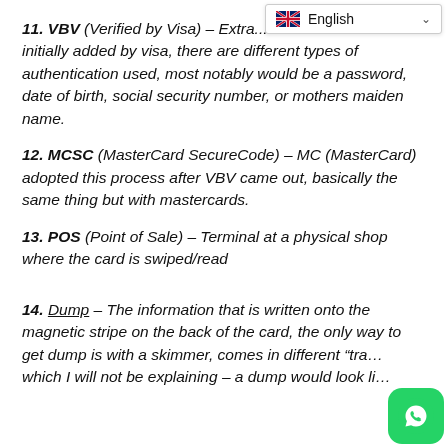11. VBV (Verified by Visa) – Extra... initially added by visa, there are different types of authentication used, most notably would be a password, date of birth, social security number, or mothers maiden name.
12. MCSC (MasterCard SecureCode) – MC (MasterCard) adopted this process after VBV came out, basically the same thing but with mastercards.
13. POS (Point of Sale) – Terminal at a physical shop where the card is swiped/read
14. Dump – The information that is written onto the magnetic stripe on the back of the card, the only way to get dump is with a skimmer, comes in different "tra... which I will not be explaining – a dump would look li...